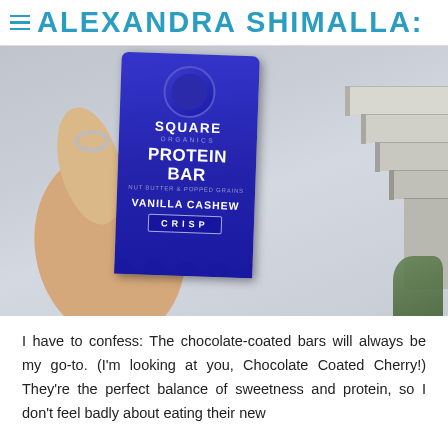ALEXANDRA SHIMALLA:
[Figure (photo): A hand holding a Square Organics Protein Bar in Vanilla Cashew Crisp flavor, blue packaging, outdoors near concrete stairs]
I have to confess: The chocolate-coated bars will always be my go-to. (I'm looking at you, Chocolate Coated Cherry!) They're the perfect balance of sweetness and protein, so I don't feel badly about eating their new